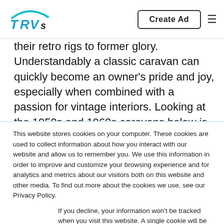TRVs | Create Ad
their retro rigs to former glory. Understandably a classic caravan can quickly become an owner's pride and joy, especially when combined with a passion for vintage interiors. Looking at the 1950s and 1960s caravans below is a real blast from the past, as time and effort has been dedicated to match original accessories and finishes.
This website stores cookies on your computer. These cookies are used to collect information about how you interact with our website and allow us to remember you. We use this information in order to improve and customize your browsing experience and for analytics and metrics about our visitors both on this website and other media. To find out more about the cookies we use, see our Privacy Policy.
If you decline, your information won't be tracked when you visit this website. A single cookie will be used in your browser to remember your preference not to be tracked.